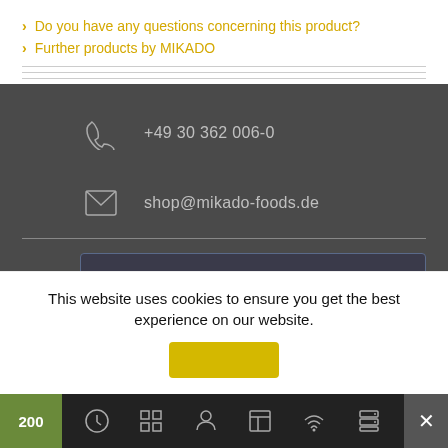Do you have any questions concerning this product?
Further products by MIKADO
+49 30 362 006-0
shop@mikado-foods.de
This website uses cookies to ensure you get the best experience on our website.
200